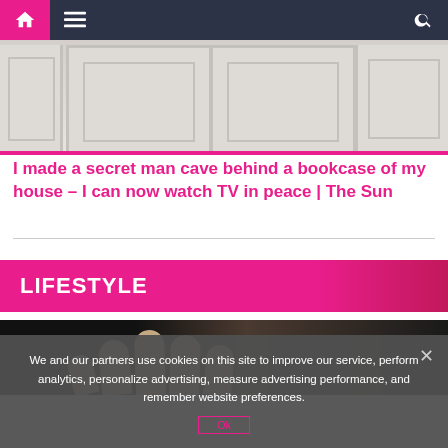Navigation bar with home, menu, and search icons
[Figure (photo): White cabinet doors photographed from below, beige/white paneled cabinet with raised-panel doors]
I made a secret man cave behind a bookcase of my house – I can now watch TV in peace | The Sun
[Figure (photo): Dark background with a hand/fingers visible, lifestyle section thumbnail]
LIFESTYLE
We and our partners use cookies on this site to improve our service, perform analytics, personalize advertising, measure advertising performance, and remember website preferences.
Ok